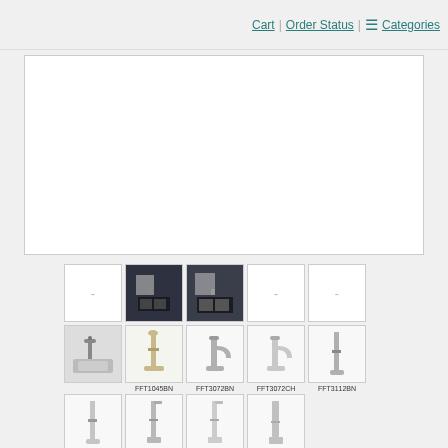Cart | Order Status | ☰ Categories
[Figure (screenshot): White content area (main product image placeholder)]
[Figure (photo): Thumbnail grid of bathroom products: blank placeholder, dark bathroom vanity 1, dark bathroom vanity 2, blank placeholder, blank placeholder, bathroom sink with faucet, FFT1045BN tall brushed nickel faucet, FFT3072BN waterfall faucet, FFT3072CH waterfall chrome faucet, FFT3112BN tall brushed nickel column faucet, FFT3112CH tall chrome column faucet, FFT9152BN faucet, FFT9152CH faucet, FFT9162CH square faucet]
FFT1045BN FFT3072BN FFT3072CH FFT3112BN FFT3112CH FFT9152BN FFT9152CH FFT9162CH